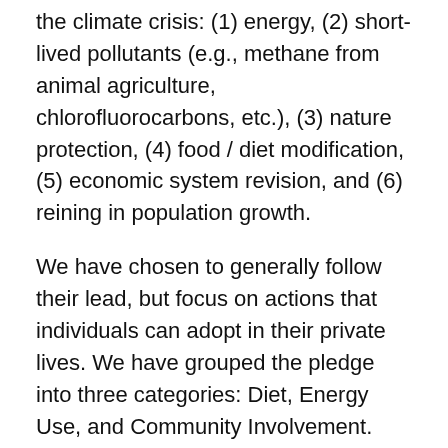the climate crisis: (1) energy, (2) short-lived pollutants (e.g., methane from animal agriculture, chlorofluorocarbons, etc.), (3) nature protection, (4) food / diet modification, (5) economic system revision, and (6) reining in population growth.
We have chosen to generally follow their lead, but focus on actions that individuals can adopt in their private lives. We have grouped the pledge into three categories: Diet, Energy Use, and Community Involvement.
The first category, Diet: Reducing Reliance on Animal Agriculture, was chosen because current diets are a major driver of climate change, and influence all areas of sustainability, including nature protection, biodiversity, pollution, water use, etc. Diet is also something we can focus on individually without the need for direct government